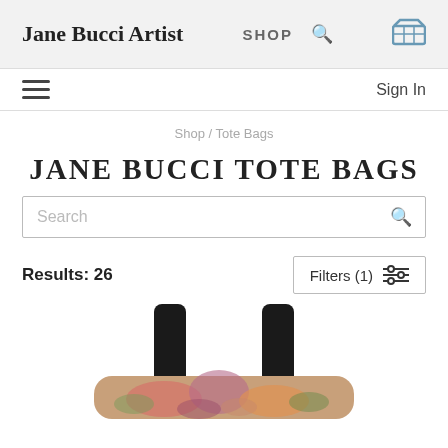Jane Bucci Artist | SHOP
Sign In
Shop / Tote Bags
JANE BUCCI TOTE BAGS
Search
Results: 26
Filters (1)
[Figure (photo): Partial view of a Jane Bucci tote bag with colorful floral/leaf artwork and black handles, shown from above]